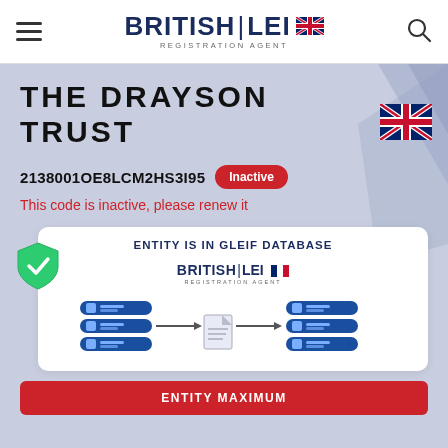BRITISH LEI REGISTRATION AGENT
THE DRAYSON TRUST
2138001OE8LCM2HS3I95 Inactive
This code is inactive, please renew it
[Figure (infographic): ENTITY IS IN GLEIF DATABASE — British LEI Registration Agent logo with server-to-server data flow diagram showing two server icons connected by arrows through a document icon]
ENTITY MAXIMUM